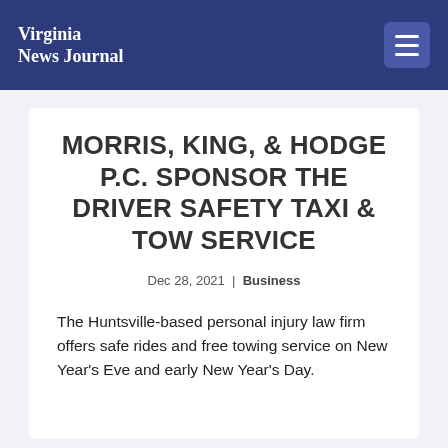Virginia News Journal
MORRIS, KING, & HODGE P.C. SPONSOR THE DRIVER SAFETY TAXI & TOW SERVICE
Dec 28, 2021 | Business
The Huntsville-based personal injury law firm offers safe rides and free towing service on New Year's Eve and early New Year's Day.